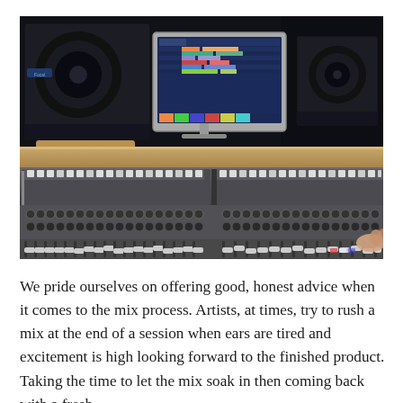[Figure (photo): A professional recording studio mixing console (large-format analog mixing board) with many faders, knobs, and channel strips. Behind the console are two studio monitor speakers and a computer monitor displaying a DAW session with colorful tracks. A person's hand is visible on the right side of the console.]
We pride ourselves on offering good, honest advice when it comes to the mix process. Artists, at times, try to rush a mix at the end of a session when ears are tired and excitement is high looking forward to the finished product. Taking the time to let the mix soak in then coming back with a fresh